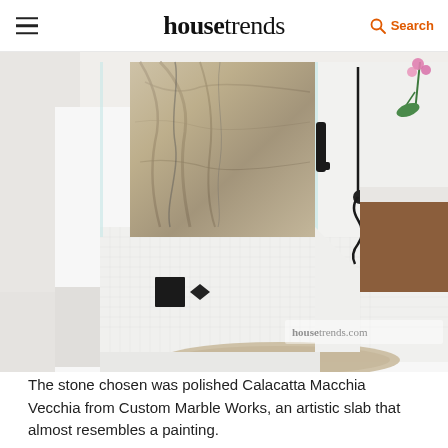housetrends — Search
[Figure (photo): Interior bathroom photo showing a glass-enclosed shower with a dramatic polished marble slab accent wall (Calacatta Macchia Vecchia stone), white mosaic tile floor, black matte shower fixtures and drain cover, glass panel door with black handle, and a partial view of a wooden vanity and orchid plant on the right side. A beige round bath rug is visible at the bottom. The housetrends.com watermark is in the lower right corner.]
The stone chosen was polished Calacatta Macchia Vecchia from Custom Marble Works, an artistic slab that almost resembles a painting.